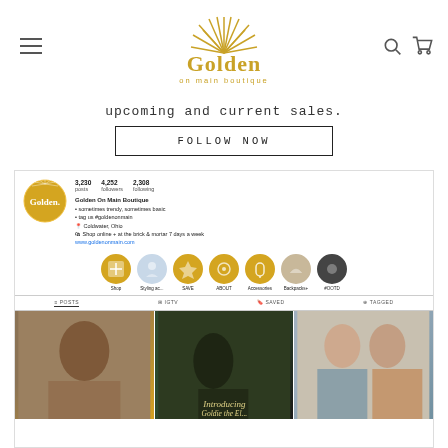[Figure (logo): Golden on Main Boutique logo with sunburst rays above stylized text]
upcoming and current sales.
FOLLOW NOW
[Figure (screenshot): Instagram profile page for Golden On Main Boutique showing 3,230 posts, 4,252 followers, 2,308 following, bio text, story highlights (Shop, Styling ac..., SAVE, ABOUT, Accessories, Backpacks+, #OOTD), and a 3-column post grid with fashion photos]